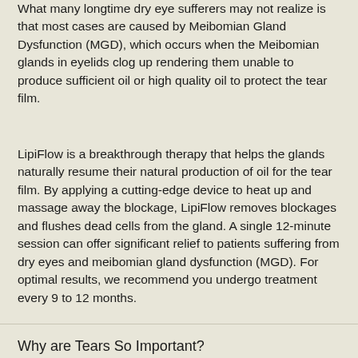What many longtime dry eye sufferers may not realize is that most cases are caused by Meibomian Gland Dysfunction (MGD), which occurs when the Meibomian glands in eyelids clog up rendering them unable to produce sufficient oil or high quality oil to protect the tear film.
LipiFlow is a breakthrough therapy that helps the glands naturally resume their natural production of oil for the tear film. By applying a cutting-edge device to heat up and massage away the blockage, LipiFlow removes blockages and flushes dead cells from the gland. A single 12-minute session can offer significant relief to patients suffering from dry eyes and meibomian gland dysfunction (MGD). For optimal results, we recommend you undergo treatment every 9 to 12 months.
Why are Tears So Important?